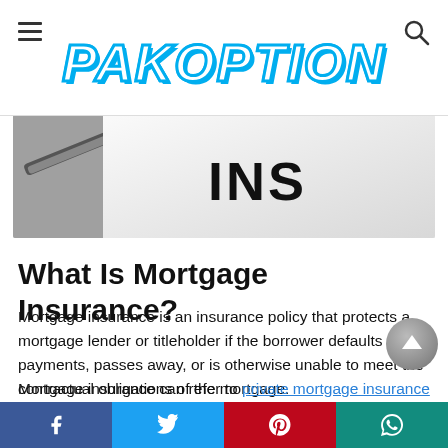PAKOPTION
[Figure (photo): Hero image showing an insurance document with pen and the word INS visible]
What Is Mortgage Insurance?
Mortgage insurance is an insurance policy that protects a mortgage lender or titleholder if the borrower defaults on payments, passes away, or is otherwise unable to meet the contractual obligations of the mortgage.
Mortgage insurance can refer to private mortgage insurance (PMI), qualified mortgage insurance
Facebook | Twitter | Pinterest | WhatsApp